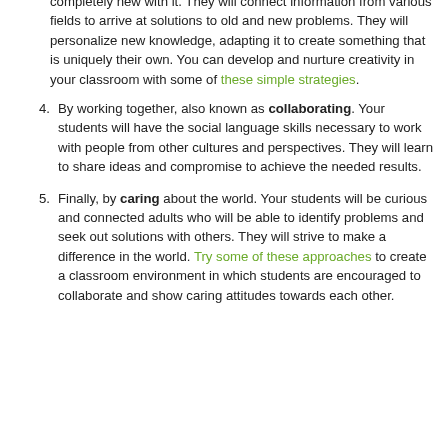ability to take knowledge and create something completely new with it. They will connect information from various fields to arrive at solutions to old and new problems. They will personalize new knowledge, adapting it to create something that is uniquely their own. You can develop and nurture creativity in your classroom with some of these simple strategies.
4. By working together, also known as collaborating. Your students will have the social language skills necessary to work with people from other cultures and perspectives. They will learn to share ideas and compromise to achieve the needed results.
5. Finally, by caring about the world. Your students will be curious and connected adults who will be able to identify problems and seek out solutions with others. They will strive to make a difference in the world. Try some of these approaches to create a classroom environment in which students are encouraged to collaborate and show caring attitudes towards each other.